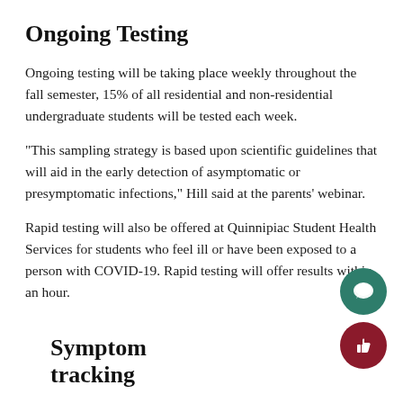Ongoing Testing
Ongoing testing will be taking place weekly throughout the fall semester, 15% of all residential and non-residential undergraduate students will be tested each week.
“This sampling strategy is based upon scientific guidelines that will aid in the early detection of asymptomatic or presymptomatic infections,” Hill said at the parents’ webinar.
Rapid testing will also be offered at Quinnipiac Student Health Services for students who feel ill or have been exposed to a person with COVID-19. Rapid testing will offer results within an hour.
Symptom tracking